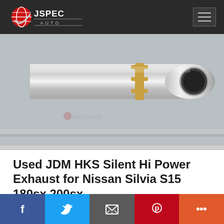JSPEC AUTO — navigation header with logo and hamburger menu
[Figure (photo): Close-up photo of a polished stainless steel HKS exhaust tip with clamp hardware, viewed from the side on a grey surface with JSpec Auto watermark]
Used JDM HKS Silent Hi Power Exhaust for Nissan Silvia S15 180sx 200sx
Up for sale is a clean JDM HKS Silent Power exhaust. This exhaust is well known in Japan f...
AVAILABLE NOW  AVAILABLE NOW  $ 850
Social share bar: Facebook, Twitter, Email, Pinterest, More